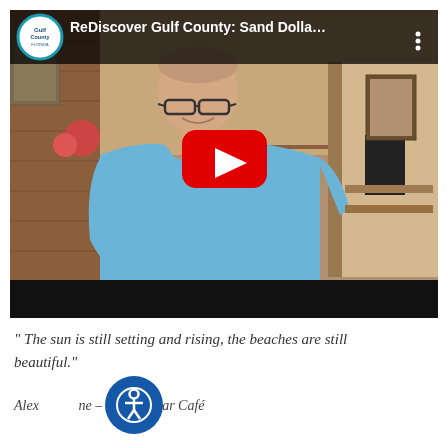[Figure (screenshot): YouTube video thumbnail/player showing a man in a light blue shirt standing inside what appears to be a cafe with brick walls and shelves. The video is titled 'ReDiscover Gulf County: Sand Dolla...' with a Gulf County Florida logo in the top-left corner and a red YouTube play button in the center.]
" The sun is still setting and rising, the beaches are still beautiful."
Alex Stone – Sand Dollar Café